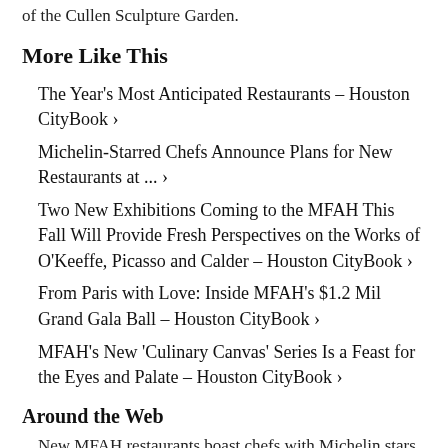of the Cullen Sculpture Garden.
More Like This
The Year's Most Anticipated Restaurants – Houston CityBook ›
Michelin-Starred Chefs Announce Plans for New Restaurants at ... ›
Two New Exhibitions Coming to the MFAH This Fall Will Provide Fresh Perspectives on the Works of O'Keeffe, Picasso and Calder – Houston CityBook ›
From Paris with Love: Inside MFAH's $1.2 Mil Grand Gala Ball – Houston CityBook ›
MFAH's New 'Culinary Canvas' Series Is a Feast for the Eyes and Palate – Houston CityBook ›
Around the Web
New MFAH restaurants boast chefs with Michelin stars galore ... ›